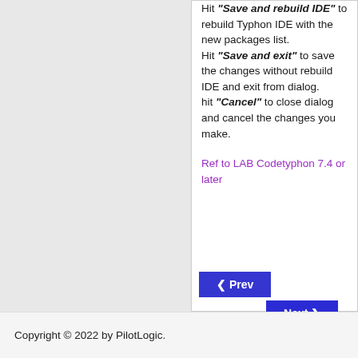Hit "Save and rebuild IDE" to rebuild Typhon IDE with the new packages list. Hit "Save and exit" to save the changes without rebuild IDE and exit from dialog. hit "Cancel" to close dialog and cancel the changes you make.
Ref to LAB Codetyphon 7.4 or later
Copyright © 2022 by PilotLogic.